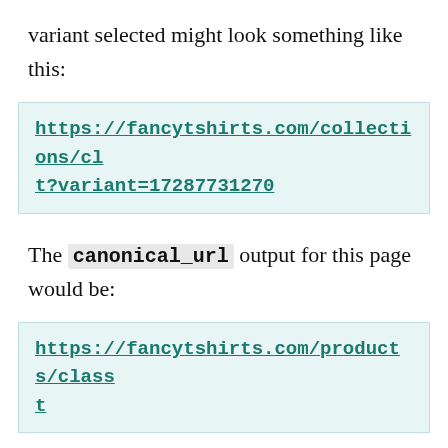variant selected might look something like this:
https://fancytshirts.com/collections/cl
t?variant=17287731270
The canonical_url output for this page would be:
https://fancytshirts.com/products/class
t
For specific use cases, you can create custom canonical URLs for pages or blog posts by using if statements, based on various